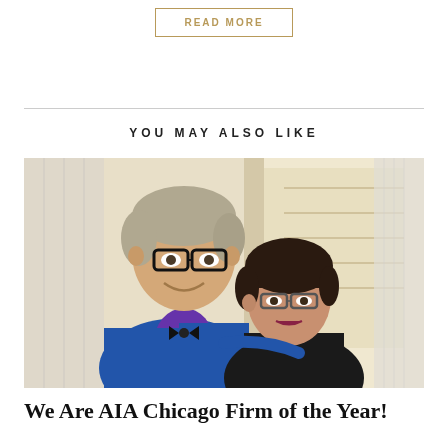READ MORE
YOU MAY ALSO LIKE
[Figure (photo): Two people posing together indoors in a modern architectural space. A tall man with glasses wearing a blue blazer and floral shirt, and a woman with dark hair and glasses in a dark outfit.]
We Are AIA Chicago Firm of the Year!